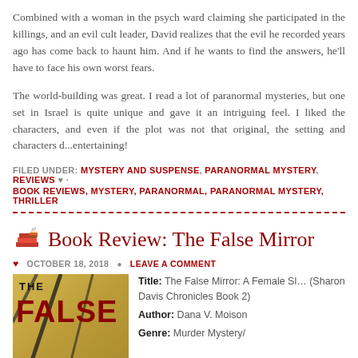Combined with a woman in the psych ward claiming she participated in the killings, and an evil cult leader, David realizes that the evil he recorded years ago has come back to haunt him. And if he wants to find the answers, he'll have to face his own worst fears.
The world-building was great. I read a lot of paranormal mysteries, but one set in Israel is quite unique and gave it an intriguing feel. I liked the characters, and even if the plot was not that original, the setting and characters d... entertaining!
FILED UNDER: MYSTERY AND SUSPENSE, PARANORMAL MYSTERY, REVIEWS ♥ · BOOK REVIEWS, MYSTERY, PARANORMAL, PARANORMAL MYSTERY, THRILLER
Book Review: The False Mirror
OCTOBER 18, 2018 · LEAVE A COMMENT
[Figure (photo): Book cover of The False Mirror showing bold red text on a golden/yellow background with diagonal dark slashes]
Title: The False Mirror: A Female Sl... (Sharon Davis Chronicles Book 2)
Author: Dana V. Moison
Genre: Murder Mystery/